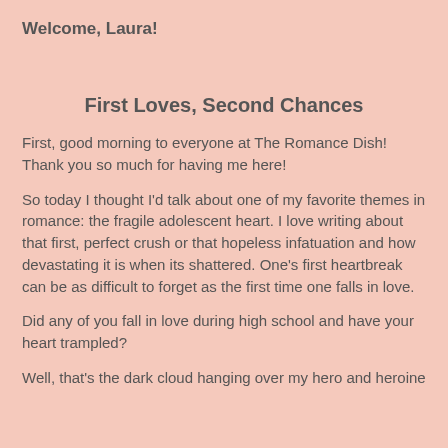Welcome, Laura!
First Loves, Second Chances
First, good morning to everyone at The Romance Dish! Thank you so much for having me here!
So today I thought I'd talk about one of my favorite themes in romance: the fragile adolescent heart. I love writing about that first, perfect crush or that hopeless infatuation and how devastating it is when its shattered. One's first heartbreak can be as difficult to forget as the first time one falls in love.
Did any of you fall in love during high school and have your heart trampled?
Well, that's the dark cloud hanging over my hero and heroine